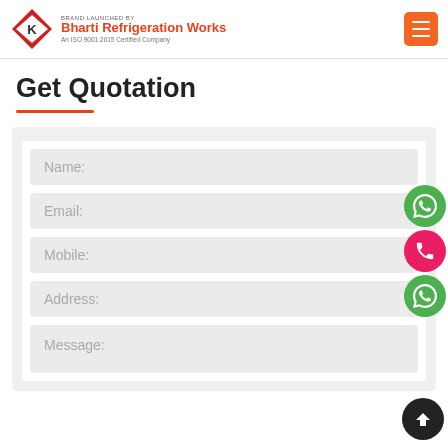Bharti Refrigeration Works — An ISO 9001:2015 Certified Company
Get Quotation
Name:
Email:
Mobile:
Address:
Message: